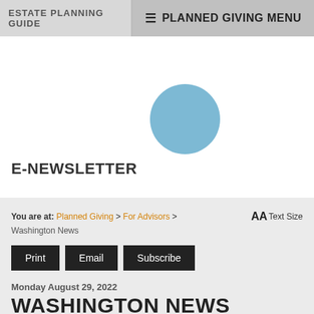ESTATE PLANNING GUIDE | ☰ PLANNED GIVING MENU
[Figure (illustration): A solid light blue circle, centered in the upper white section of the page, representing a logo or placeholder image.]
E-NEWSLETTER
You are at: Planned Giving > For Advisors > Washington News    AA Text Size
Print
Email
Subscribe
Monday August 29, 2022
WASHINGTON NEWS